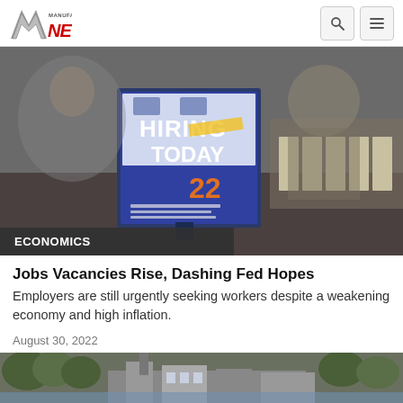Manufacturing.NET
[Figure (photo): A 'HIRING TODAY' sign on a table at a job fair, with blurred background showing people and materials]
Jobs Vacancies Rise, Dashing Fed Hopes
Employers are still urgently seeking workers despite a weakening economy and high inflation.
August 30, 2022
[Figure (photo): Partial view of an industrial facility or factory building, partially cropped at bottom of page]